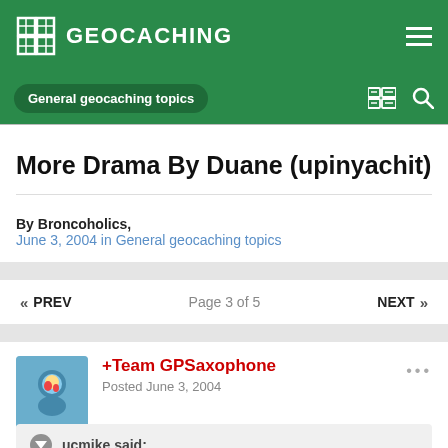GEOCACHING
More Drama By Duane (upinyachit)
By Broncoholics,
June 3, 2004 in General geocaching topics
« PREV   Page 3 of 5   NEXT »
+Team GPSaxophone
Posted June 3, 2004
ucmike said: